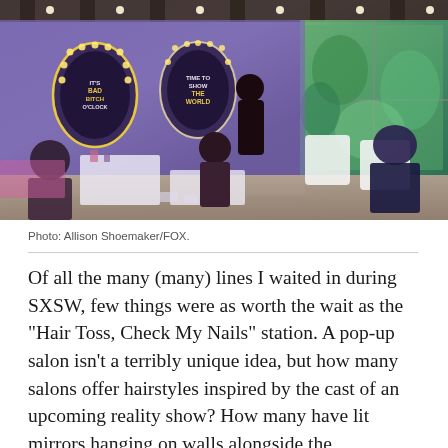[Figure (photo): Interior of a pop-up salon at SXSW with purple-lit walls featuring oval mirrors with Hollywood bulb lighting, signage reading 'IT'S BAD BITCH O'CLOCK' and 'TIME TO SHOW THE WORLD', people getting hair done, white chairs and tables, and a large colorful mural/window display on the right side.]
Photo: Allison Shoemaker/FOX.
Of all the many (many) lines I waited in during SXSW, few things were as worth the wait as the "Hair Toss, Check My Nails" station. A pop-up salon isn't a terribly unique idea, but how many salons offer hairstyles inspired by the cast of an upcoming reality show? How many have lit mirrors hanging on walls alongside the